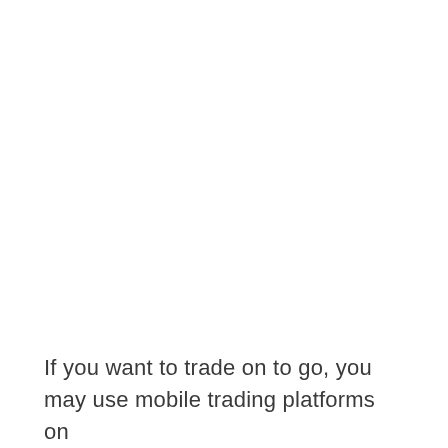If you want to trade on to go, you may use mobile trading platforms on